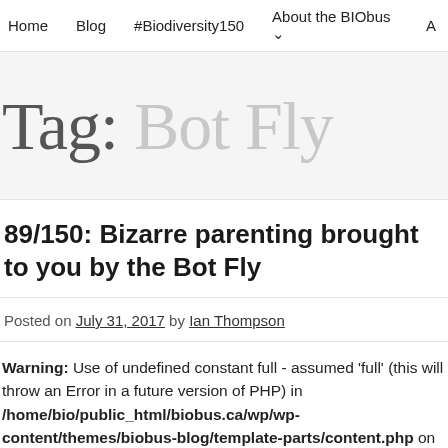Home   Blog   #Biodiversity150   About the BIObus ∨   A…
Tag: Bot Fly
89/150: Bizarre parenting brought to you by the Bot Fly
Posted on July 31, 2017 by Ian Thompson
Warning: Use of undefined constant full - assumed 'full' (this will throw an Error in a future version of PHP) in /home/bio/public_html/biobus.ca/wp/wp-content/themes/biobus-blog/template-parts/content.php on